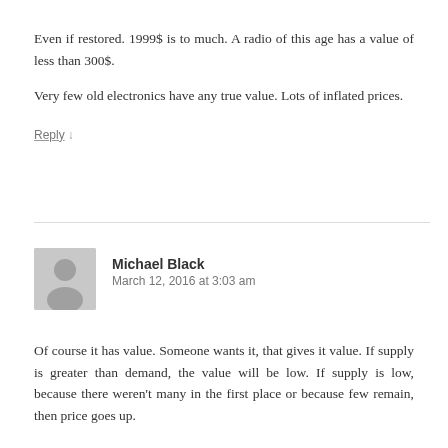Even if restored. 1999$ is to much. A radio of this age has a value of less than 300$.
Very few old electronics have any true value. Lots of inflated prices.
Reply ↓
Michael Black
March 12, 2016 at 3:03 am
Of course it has value. Someone wants it, that gives it value. If supply is greater than demand, the value will be low. If supply is low, because there weren't many in the first place or because few remain, then price goes up.